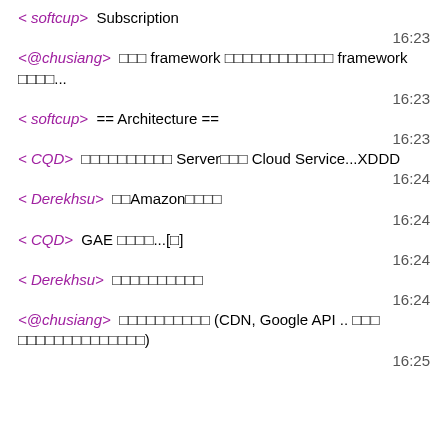< softcup>  Subscription
16:23
<@chusiang>  □□□ framework □□□□□□□□□□□□ framework □□□□...
16:23
< softcup>  == Architecture ==
16:23
< CQD>  □□□□□□□□□□ Server□□□ Cloud Service...XDDD
16:24
< Derekhsu>  □□Amazon□□□□
16:24
< CQD>  GAE □□□□...[□]
16:24
< Derekhsu>  □□□□□□□□□□
16:24
<@chusiang>  □□□□□□□□□□ (CDN, Google API .. □□□ □□□□□□□□□□□□□□)
16:25